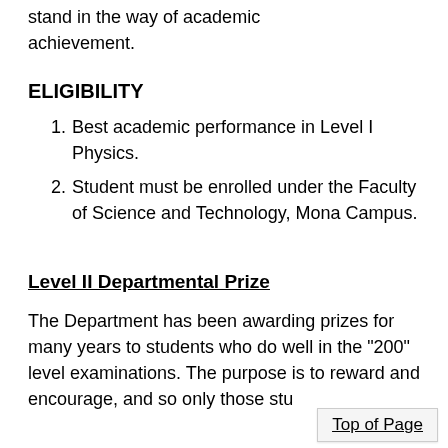stand in the way of academic achievement.
ELIGIBILITY
Best academic performance in Level I Physics.
Student must be enrolled under the Faculty of Science and Technology, Mona Campus.
Level II Departmental Prize
The Department has been awarding prizes for many years to students who do well in the "200" level examinations. The purpose is to reward and encourage, and so only those stu
Top of Page